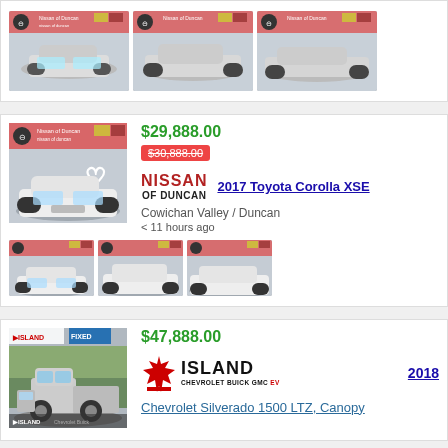[Figure (photo): Three car thumbnail photos in a row (partial top listing card showing silver sedans)]
[Figure (photo): Main photo of white 2017 Toyota Corolla XSE at Nissan of Duncan dealership]
$29,888.00
$30,888.00 (strikethrough)
NISSAN OF DUNCAN
2017 Toyota Corolla XSE
Cowichan Valley / Duncan
< 11 hours ago
[Figure (photo): Three thumbnails of white Toyota Corolla XSE from different angles]
$47,888.00
[Figure (photo): Main photo of silver Chevrolet Silverado truck at Island dealership]
Island Chevrolet Buick GMC EV
2018
Chevrolet Silverado 1500 LTZ, Canopy